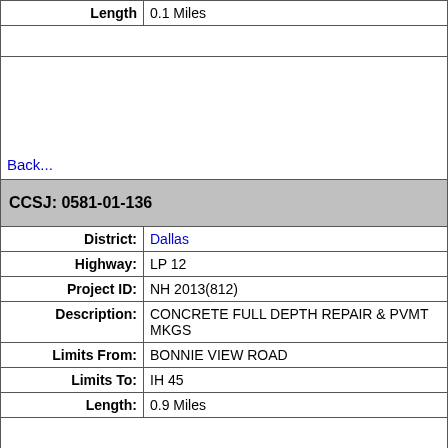| Length | 0.1 Miles |
| (empty row) |  |
| Back... |  |
| CCSJ: 0581-01-136 |  |
| District: | Dallas |
| Highway: | LP 12 |
| Project ID: | NH 2013(812) |
| Description: | CONCRETE FULL DEPTH REPAIR & PVMT MKGS |
| Limits From: | BONNIE VIEW ROAD |
| Limits To: | IH 45 |
| Length: | 0.9 Miles |
| (empty row) |  |
| Back... |  |